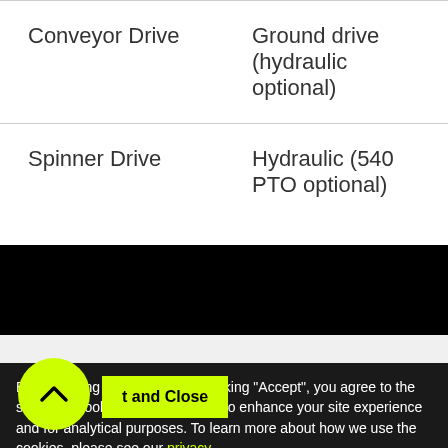|  |  |
| --- | --- |
| Conveyor Drive | Ground drive (hydraulic optional) |
| Spinner Drive | Hydraulic (540 PTO optional) |
By continuing to browse or by clicking "Accept", you agree to the storing of cookies on your device to enhance your site experience and for analytical purposes. To learn more about how we use the cookies, please see our privacy